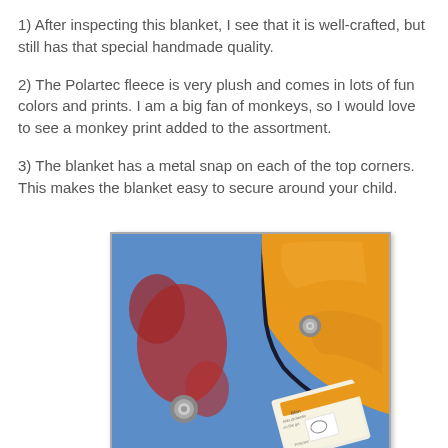1) After inspecting this blanket, I see that it is well-crafted, but still has that special handmade quality.
2) The Polartec fleece is very plush and comes in lots of fun colors and prints. I am a big fan of monkeys, so I would love to see a monkey print added to the assortment.
3) The blanket has a metal snap on each of the top corners. This makes the blanket easy to secure around your child.
[Figure (photo): Close-up photo of a blue and red patterned fleece blanket corner with a metal snap, showing orange satin lining folded back, and a small product tag/label visible in the lower right corner.]